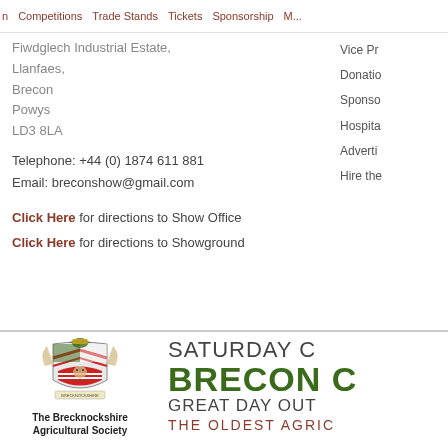Competitions | Trade Stands | Tickets | Sponsorship | M...
Fiwdglech Industrial Estate, Llanfaes, Brecon, Powys, LD3 8LA
Telephone: +44 (0) 1874 611 881
Email: breconshow@gmail.com
Click Here for directions to Show Office
Click Here for directions to Showground
Vice Pr...
Donatio...
Sponso...
Hospita...
Adverti...
Hire the...
[Figure (logo): Coat of arms / heraldic crest of the Brecknockshire Agricultural Society — shield with dragon, agricultural animals, red and white chevrons]
The Brecknockshire Agricultural Society
SATURDAY O... BRECON C... GREAT DAY OUT THE OLDEST AGRIC...